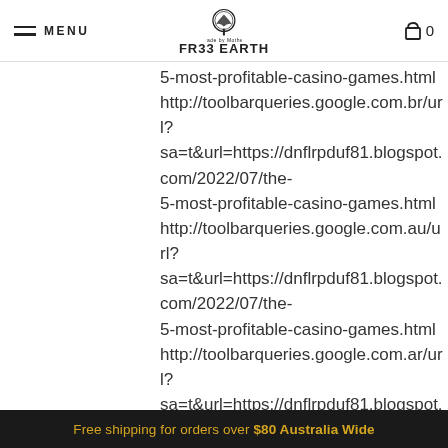MENU  FR33 EARTH  0
5-most-profitable-casino-games.html
http://toolbarqueries.google.com.br/url?
sa=t&url=https://dnflrpduf81.blogspot.com/2022/07/the-5-most-profitable-casino-games.html
http://toolbarqueries.google.com.au/url?
sa=t&url=https://dnflrpduf81.blogspot.com/2022/07/the-5-most-profitable-casino-games.html
http://toolbarqueries.google.com.ar/url?
sa=t&url=https://dnflrpduf81.blogspot.com/2022/07/the-5-most-profitable-casino-games.html
http://toolbarqueries.google.co.za/url?
sa=t&url=https://dnflrpduf81.blogspot.com/2022/07/the-5-most-profitable-casino-games.html
http://toolbarqueries.google.co.ve/url?
sa=t&url=https://dnflrpduf81.blogspot.com/2022/07/the
Free shipping for orders over $80 Australia Wide